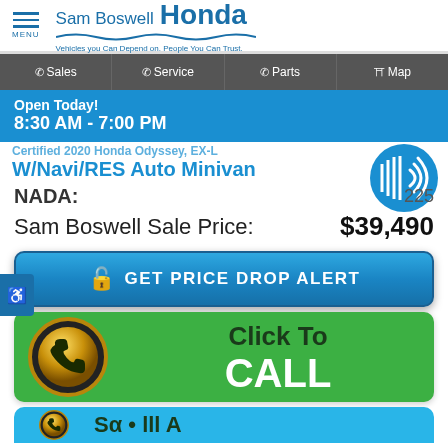Sam Boswell Honda — Vehicles you Can Depend on. People You Can Trust.
Sales | Service | Parts | Map
Open Today! 8:30 AM - 7:00 PM
W/Navi/RES Auto Minivan
NADA:
Sam Boswell Sale Price: $39,490
[Figure (screenshot): GET PRICE DROP ALERT button]
[Figure (screenshot): Click To CALL green button]
[Figure (screenshot): Partially visible Schedule A blue button]